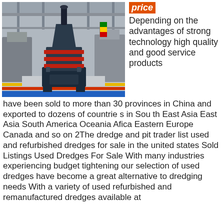[Figure (photo): Industrial heavy machinery (cone crusher) inside a large factory/exhibition hall with other industrial equipment in the background]
price
Depending on the advantages of strong technology high quality and good service products have been sold to more than 30 provinces in China and exported to dozens of countrie s in Sou th East Asia East Asia South America Oceania Afica Eastern Europe Canada and so on 2The dredge and pit trader list used and refurbished dredges for sale in the united states Sold Listings Used Dredges For Sale With many industries experiencing budget tightening our selection of used dredges have become a great alternative to dredging needs With a variety of used refurbished and remanufactured dredges available at